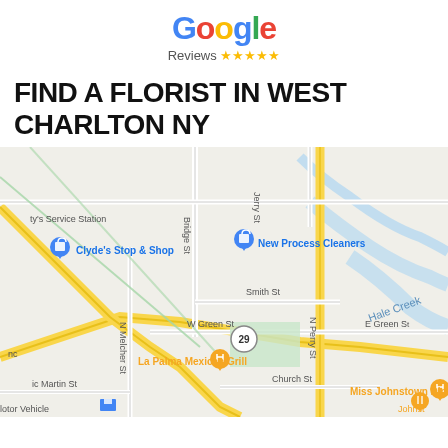[Figure (logo): Google Reviews logo with five gold stars]
FIND A FLORIST IN WEST CHARLTON NY
[Figure (map): Google Maps screenshot showing West Charlton NY area with streets: Bridge St, Jerry St, N Melcher St, N Perry St, W Green St, E Green St, Smith St, Church St. Landmarks: ty's Service Station, Clyde's Stop & Shop, New Process Cleaners, La Palma Mexican Grill, Miss Johnstown Diner, Motor Vehicle office. Route 29 visible. Hale Creek waterway shown. Map markers for Clyde's Stop & Shop and New Process Cleaners in blue, La Palma Mexican Grill and Miss Johnstown Diner in orange.]